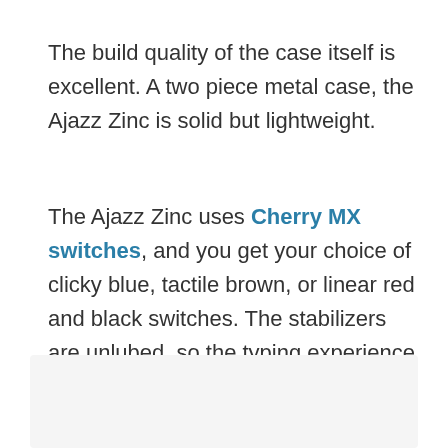The build quality of the case itself is excellent. A two piece metal case, the Ajazz Zinc is solid but lightweight.
The Ajazz Zinc uses Cherry MX switches, and you get your choice of clicky blue, tactile brown, or linear red and black switches. The stabilizers are unlubed, so the typing experience could be improved.